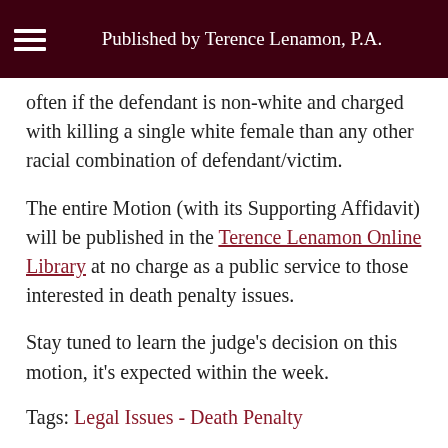Published by Terence Lenamon, P.A.
often if the defendant is non-white and charged with killing a single white female than any other racial combination of defendant/victim.
The entire Motion (with its Supporting Affidavit) will be published in the Terence Lenamon Online Library at no charge as a public service to those interested in death penalty issues.
Stay tuned to learn the judge's decision on this motion, it's expected within the week.
Tags: Legal Issues - Death Penalty
[Figure (infographic): Row of social sharing icons: printer, email/envelope, Twitter, Facebook, LinkedIn]